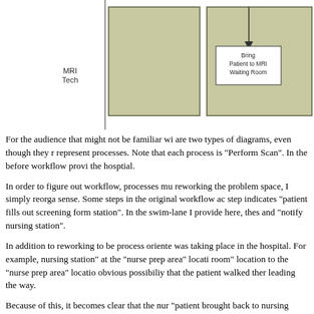[Figure (flowchart): Partial swim-lane workflow diagram showing MRI Tech lane with boxes representing process steps including 'Bring Patient to MRI Waiting Room' box with an arrow pointing to it from above.]
For the audience that might not be familiar with these are two types of diagrams, even though they represent processes. Note that each process is "Perform Scan". In the before workflow provi the hosptial.
In order to figure out workflow, processes mu reworking the problem space, I simply reorga sense. Some steps in the original workflow ac step indicates "patient fills out screening form station". In the swim-lane I provide here, thes and "notify nursing station".
In addition to reworking to be process oriente was taking place in the hospital. For example, nursing station" at the "nurse prep area" locati room" location to the "nurse prep area" locatio obvious possibiliy that the patient walked the leading the way.
Because of this, it becomes clear that the nur "patient brought back to nursing station", so th swimlane and associated with "nurse". It simp prep area", because if the patient was already